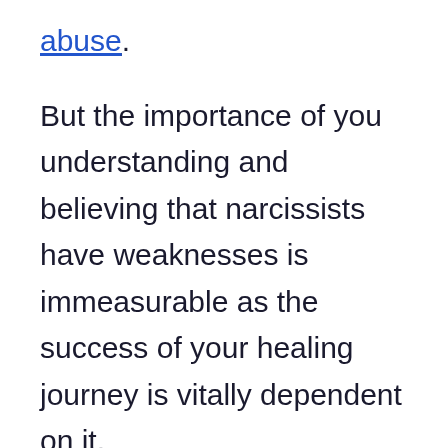abuse.
But the importance of you understanding and believing that narcissists have weaknesses is immeasurable as the success of your healing journey is vitally dependent on it.
This article is going to guide you through three weaknesses that intertwine with each other that are to blame for a narcissist's inevitable downfall and give